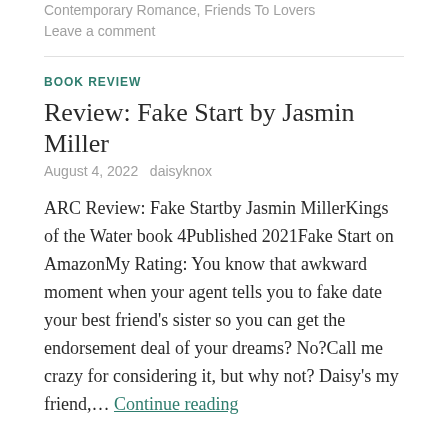Contemporary Romance, Friends To Lovers
Leave a comment
BOOK REVIEW
Review: Fake Start by Jasmin Miller
August 4, 2022   daisyknox
ARC Review: Fake Startby Jasmin MillerKings of the Water book 4Published 2021Fake Start on AmazonMy Rating: You know that awkward moment when your agent tells you to fake date your best friend’s sister so you can get the endorsement deal of your dreams? No?Call me crazy for considering it, but why not? Daisy’s my friend,… Continue reading